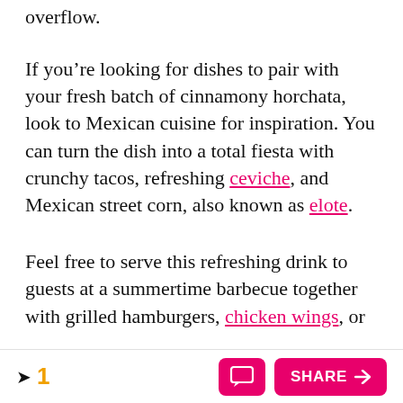overflow.
If you’re looking for dishes to pair with your fresh batch of cinnamony horchata, look to Mexican cuisine for inspiration. You can turn the dish into a total fiesta with crunchy tacos, refreshing ceviche, and Mexican street corn, also known as elote.
Feel free to serve this refreshing drink to guests at a summertime barbecue together with grilled hamburgers, chicken wings, or
1  SHARE